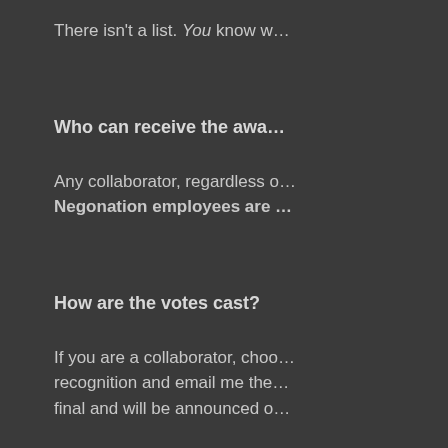There isn't a list. You know w…
Who can receive the awa…
Any collaborator, regardless o…
Negonation employees are …
How are the votes cast?
If you are a collaborator, choo… recognition and email me the… final and will be announced o…
When are the awards giv…
Every time a milestone is met…
1. Tractis Beta – Negotia…
2. Tractis Beta – Contrac…
3. Tractis Beta – Disput…